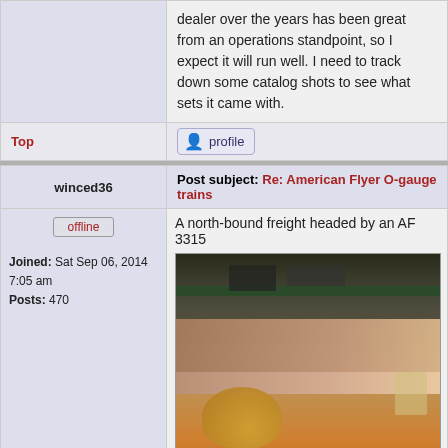dealer over the years has been great from an operations standpoint, so I expect it will run well. I need to track down some catalog shots to see what sets it came with.
Top
[Figure (screenshot): Profile button with user icon]
Post subject: Re: American Flyer O-gauge trains
winced36
offline
Joined: Sat Sep 06, 2014 7:05 am
Posts: 470
A north-bound freight headed by an AF 3315
[Figure (photo): Photo of model trains on a layout, showing a locomotive in the foreground with shelves of trains in the background]